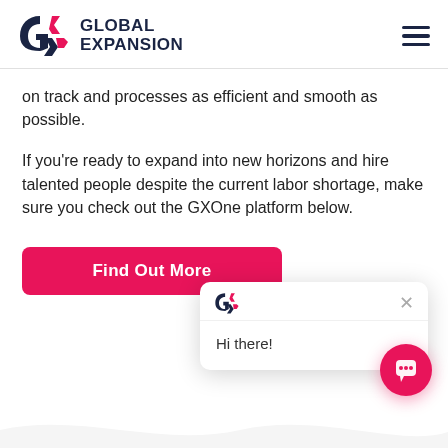[Figure (logo): Global Expansion logo with GX icon and text]
on track and processes as efficient and smooth as possible.
If you’re ready to expand into new horizons and hire talented people despite the current labor shortage, make sure you check out the GXOne platform below.
[Figure (screenshot): Pink 'Find Out More' button partially visible behind chat popup]
[Figure (screenshot): Chat popup widget showing GX logo, close button, and 'Hi there!' message, with pink chat bubble icon in bottom right]